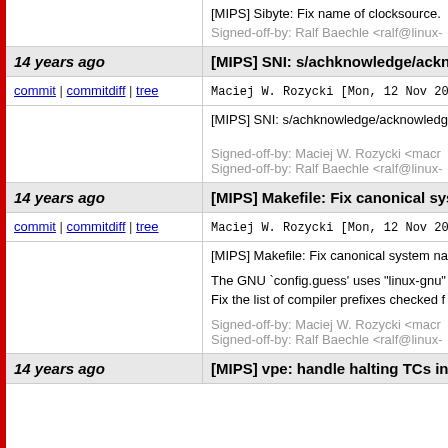[MIPS] Sibyte: Fix name of clocksource.
Signed-off-by: Ralf Baechle <ralf@linux-...
14 years ago | [MIPS] SNI: s/achknowledge/acknowledge
commit | commitdiff | tree | Maciej W. Rozycki [Mon, 12 Nov 2007 ...
[MIPS] SNI: s/achknowledge/acknowledge
Signed-off-by: Maciej W. Rozycki <mac...
Signed-off-by: Ralf Baechle <ralf@linux-...
14 years ago | [MIPS] Makefile: Fix canonical system...
commit | commitdiff | tree | Maciej W. Rozycki [Mon, 12 Nov 2007 ...
[MIPS] Makefile: Fix canonical system na...
The GNU `config.guess' uses "linux-gnu"...
Fix the list of compiler prefixes checked ...
Signed-off-by: Maciej W. Rozycki <mac...
Signed-off-by: Ralf Baechle <ralf@linux-...
14 years ago | [MIPS] vpe: handle halting TCs in an e...